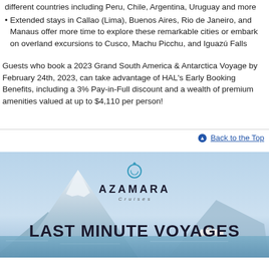different countries including Peru, Chile, Argentina, Uruguay and more
Extended stays in Callao (Lima), Buenos Aires, Rio de Janeiro, and Manaus offer more time to explore these remarkable cities or embark on overland excursions to Cusco, Machu Picchu, and Iguazú Falls
Guests who book a 2023 Grand South America & Antarctica Voyage by February 24th, 2023, can take advantage of HAL's Early Booking Benefits, including a 3% Pay-in-Full discount and a wealth of premium amenities valued at up to $4,110 per person!
Back to the Top
[Figure (photo): Azamara cruise line advertisement banner showing a cruise ship on blue water with mountains in the background, featuring the Azamara logo and the text LAST MINUTE VOYAGES]